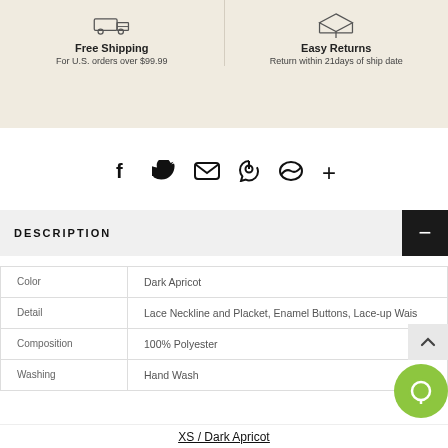Free Shipping
For U.S. orders over $99.99
Easy Returns
Return within 21days of ship date
[Figure (infographic): Social sharing icons: Facebook, Twitter, Email, Pinterest, Messenger, More (+)]
DESCRIPTION
|  |  |
| --- | --- |
| Color | Dark Apricot |
| Detail | Lace Neckline and Placket, Enamel Buttons, Lace-up Wais |
| Composition | 100% Polyester |
| Washing | Hand Wash |
XS / Dark Apricot